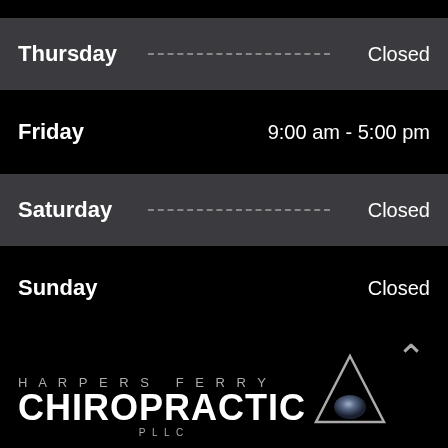Thursday — Closed
Friday — 9:00 am - 5:00 pm
Saturday — Closed
Sunday — Closed
[Figure (logo): Harpers Ferry Chiropractic PLLC logo with triangle/sphere icon, text HARPERS FERRY above CHIROPRACTIC and PLLC below]